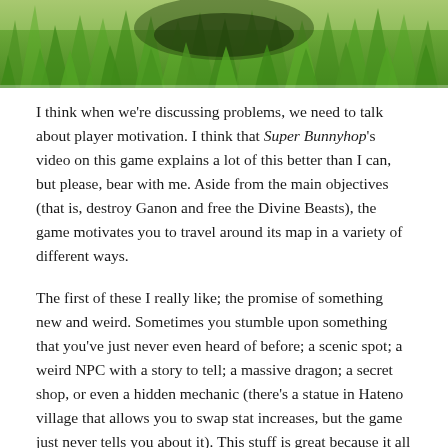[Figure (photo): Green grassy field, top portion of image showing lush green grass and vegetation with dark shadowy form in the background]
I think when we're discussing problems, we need to talk about player motivation. I think that Super Bunnyhop's video on this game explains a lot of this better than I can, but please, bear with me. Aside from the main objectives (that is, destroy Ganon and free the Divine Beasts), the game motivates you to travel around its map in a variety of different ways.
The first of these I really like; the promise of something new and weird. Sometimes you stumble upon something that you've just never even heard of before; a scenic spot; a weird NPC with a story to tell; a massive dragon; a secret shop, or even a hidden mechanic (there's a statue in Hateno village that allows you to swap stat increases, but the game just never tells you about it). This stuff is great because it all feels unique and exciting and natural. Even if the dragon will